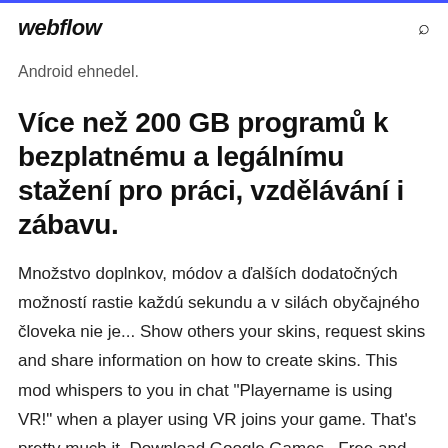webflow
Android ehnedel.
Více než 200 GB programů k bezplatnému a legálnímu stažení pro práci, vzdělávání i zábavu.
Množstvo doplnkov, módov a ďalších dodatočných možností rastie každú sekundu a v silách obyčajného človeka nie je... Show others your skins, request skins and share information on how to create skins. This mod whispers to you in chat "Playername is using VR!" when a player using VR joins your game. That's pretty much it. Download Google Games . Free and